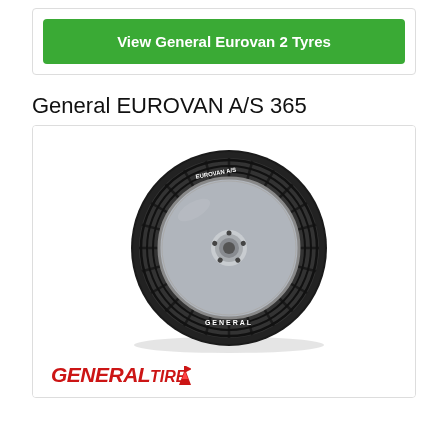View General Eurovan 2 Tyres
General EUROVAN A/S 365
[Figure (photo): Photo of a General EUROVAN A/S 365 tyre mounted on a silver alloy wheel, showing the tyre tread pattern and sidewall with 'GENERAL' branding, all-season tread design with directional grooves]
[Figure (logo): General Tire logo in red italic text with a stylized red mountain/flag icon]